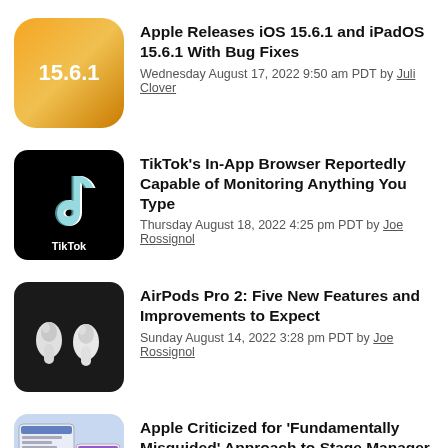[Figure (illustration): iOS 15.6.1 app icon with orange/yellow gradient background showing '15.6.1' text]
Apple Releases iOS 15.6.1 and iPadOS 15.6.1 With Bug Fixes
Wednesday August 17, 2022 9:50 am PDT by Juli Clover
[Figure (logo): TikTok logo on black background]
TikTok's In-App Browser Reportedly Capable of Monitoring Anything You Type
Thursday August 18, 2022 4:25 pm PDT by Joe Rossignol
[Figure (photo): AirPods Pro 2 on dark background]
AirPods Pro 2: Five New Features and Improvements to Expect
Sunday August 14, 2022 3:28 pm PDT by Joe Rossignol
[Figure (screenshot): Stage Manager in iPadOS 16 screenshot]
Apple Criticized for 'Fundamentally Misguided' Approach to Stage Manager in iPadOS 16
Friday August 19, 2022 1:57 am PDT by Sami Fathi